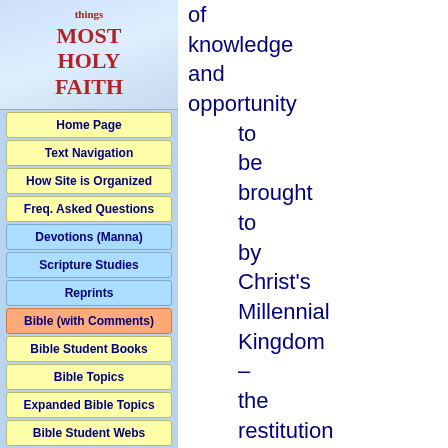MOST HOLY FAITH
Home Page
Text Navigation
How Site is Organized
Freq. Asked Questions
Devotions (Manna)
Scripture Studies
Reprints
Bible (with Comments)
Bible Student Books
Bible Topics
Expanded Bible Topics
Bible Student Webs
Miscellaneous
things of knowledge and opportunity to be brought to by Christ's Millennial Kingdom – the restitution of all that was lost